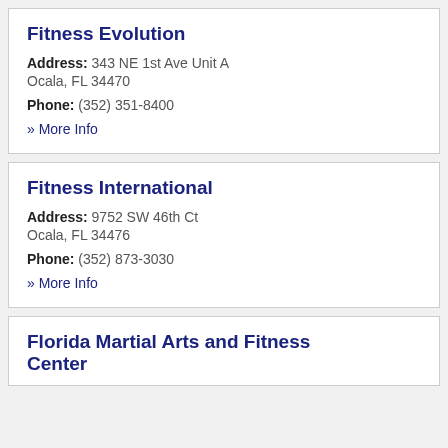Fitness Evolution
Address: 343 NE 1st Ave Unit A
Ocala, FL 34470
Phone: (352) 351-8400
» More Info
Fitness International
Address: 9752 SW 46th Ct
Ocala, FL 34476
Phone: (352) 873-3030
» More Info
Florida Martial Arts and Fitness Center